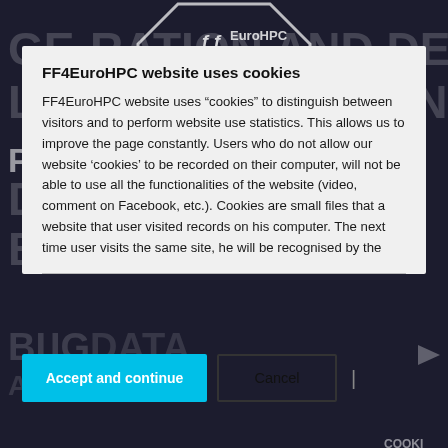[Figure (screenshot): FF4EuroHPC website screenshot showing a dark background with large white watermark text 'GENERATION AND DEEP LEARNING TRAINING FOR PRIVACY SETTINGS DELAYED BEHIND BACKING' and an FF4EuroHPC hexagonal logo at top center. A cookie consent modal dialog overlays the page.]
FF4EuroHPC website uses cookies
FF4EuroHPC website uses “cookies” to distinguish between visitors and to perform website use statistics. This allows us to improve the page constantly. Users who do not allow our website ‘cookies’ to be recorded on their computer, will not be able to use all the functionalities of the website (video, comment on Facebook, etc.). Cookies are small files that a website that user visited records on his computer. The next time user visits the same site, he will be recognised by the
Accept and continue
Cancel